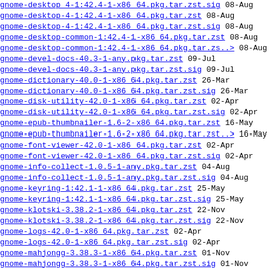gnome-desktop-4-1:42.4-1-x86_64.pkg.tar.zst.sig	08-Aug
gnome-desktop-4-1:42.4-1-x86_64.pkg.tar.zst	08-Aug
gnome-desktop-4-1:42.4-1-x86_64.pkg.tar.zst.sig	08-Aug
gnome-desktop-common-1:42.4-1-x86_64.pkg.tar.zst	08-Aug
gnome-desktop-common-1:42.4-1-x86_64.pkg.tar.zs..>	08-Aug
gnome-devel-docs-40.3-1-any.pkg.tar.zst	09-Jul
gnome-devel-docs-40.3-1-any.pkg.tar.zst.sig	09-Jul
gnome-dictionary-40.0-1-x86_64.pkg.tar.zst	26-Mar
gnome-dictionary-40.0-1-x86_64.pkg.tar.zst.sig	26-Mar
gnome-disk-utility-42.0-1-x86_64.pkg.tar.zst	02-Apr
gnome-disk-utility-42.0-1-x86_64.pkg.tar.zst.sig	02-Apr
gnome-epub-thumbnailer-1.6-2-x86_64.pkg.tar.zst	16-May
gnome-epub-thumbnailer-1.6-2-x86_64.pkg.tar.zst..>	16-May
gnome-font-viewer-42.0-1-x86_64.pkg.tar.zst	02-Apr
gnome-font-viewer-42.0-1-x86_64.pkg.tar.zst.sig	02-Apr
gnome-info-collect-1.0.5-1-any.pkg.tar.zst	04-Aug
gnome-info-collect-1.0.5-1-any.pkg.tar.zst.sig	04-Aug
gnome-keyring-1:42.1-1-x86_64.pkg.tar.zst	25-May
gnome-keyring-1:42.1-1-x86_64.pkg.tar.zst.sig	25-May
gnome-klotski-3.38.2-1-x86_64.pkg.tar.zst	22-Nov
gnome-klotski-3.38.2-1-x86_64.pkg.tar.zst.sig	22-Nov
gnome-logs-42.0-1-x86_64.pkg.tar.zst	02-Apr
gnome-logs-42.0-1-x86_64.pkg.tar.zst.sig	02-Apr
gnome-mahjongg-3.38.3-1-x86_64.pkg.tar.zst	01-Nov
gnome-mahjongg-3.38.3-1-x86_64.pkg.tar.zst.sig	01-Nov
gnome-maps-42.3-1-x86_64.pkg.tar.zst	02-Jul
gnome-maps-42.3-1-x86_64.pkg.tar.zst.sig	02-Jul
gnome-menus-3.36.0-2-x86_64.pkg.tar.zst	18-Jul
gnome-menus-3.36.0-2-x86_64.pkg.tar.zst.sig	18-Jul
gnome-mines-40.1-1-x86_64.pkg.tar.zst	18-Feb
gnome-mines-40.1-1-x86_64.pkg.tar.zst.sig	18-Feb